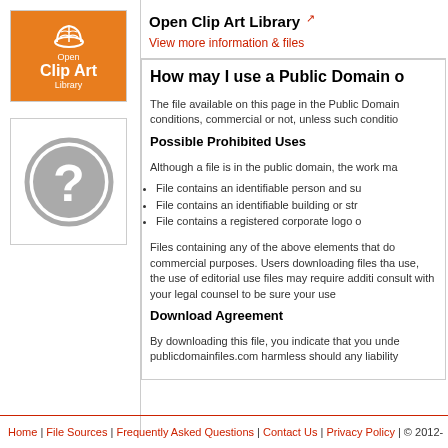[Figure (logo): Open Clip Art Library orange logo with white leaf/book icon and white text]
[Figure (illustration): Gray circle with question mark icon]
Open Clip Art Library
View more information & files
How may I use a Public Domain d
The file available on this page in the Public Domain conditions, commercial or not, unless such conditio
Possible Prohibited Uses
Although a file is in the public domain, the work ma
File contains an identifiable person and su
File contains an identifiable building or str
File contains a registered corporate logo o
Files containing any of the above elements that do commercial purposes. Users downloading files tha use, the use of editorial use files may require additi consult with your legal counsel to be sure your use
Download Agreement
By downloading this file, you indicate that you unde publicdomainfiles.com harmless should any liability
Home | File Sources | Frequently Asked Questions | Contact Us | Privacy Policy | © 2012-